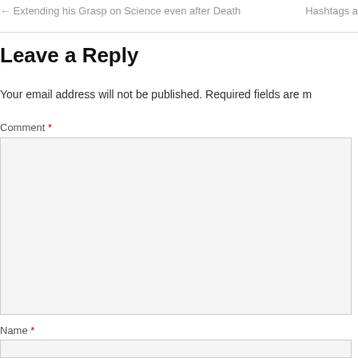← Extending his Grasp on Science even after Death    Hashtags a
Leave a Reply
Your email address will not be published. Required fields are m
Comment *
Name *